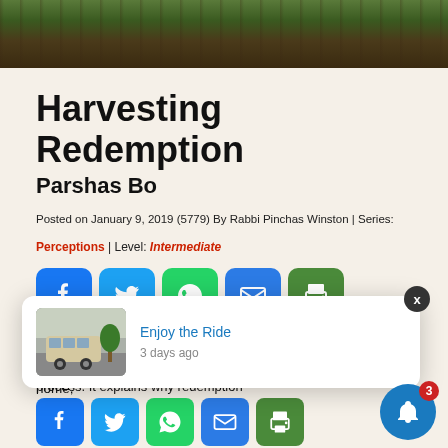[Figure (photo): Hero image with dark earthy tones, trees and wooden background]
Harvesting Redemption
Parshas Bo
Posted on January 9, 2019 (5779) By Rabbi Pinchas Winston | Series: Perceptions | Level: Intermediate
[Figure (infographic): Social sharing buttons: Facebook, Twitter, WhatsApp, Email, Print]
Speak to the entire community of Israel, saying, “On the tenth of this month, let each one take a lamb for each parental home,
[Figure (screenshot): Notification popup showing 'Enjoy the Ride' article with thumbnail of old bus, 3 days ago, and close button X]
... Moshe Sh... all about the redemption process. It explains why redemption